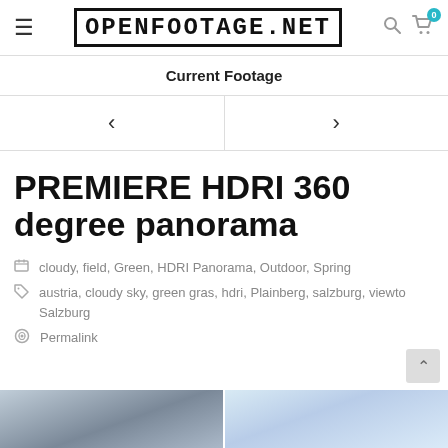OPENFOOTAGE.NET
Current Footage
PREMIERE HDRI 360 degree panorama
cloudy, field, Green, HDRI Panorama, Outdoor, Spring
austria, cloudy sky, green gras, hdri, Plainberg, salzburg, viewto Salzburg
Permalink
[Figure (photo): Bottom image strip showing panoramic landscape photos in grayscale/blue tones]